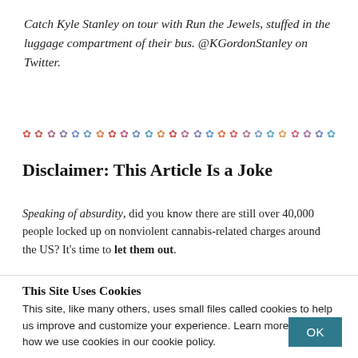Catch Kyle Stanley on tour with Run the Jewels, stuffed in the luggage compartment of their bus. @KGordonStanley on Twitter.
[Figure (other): Decorative divider made of repeating colorful snowflake/asterisk symbols in a gradient of colors from red/pink to blue/teal]
Disclaimer: This Article Is a Joke
Speaking of absurdity, did you know there are still over 40,000 people locked up on nonviolent cannabis-related charges around the US? It's time to let them out.
This Site Uses Cookies
This site, like many others, uses small files called cookies to help us improve and customize your experience. Learn more about how we use cookies in our cookie policy.